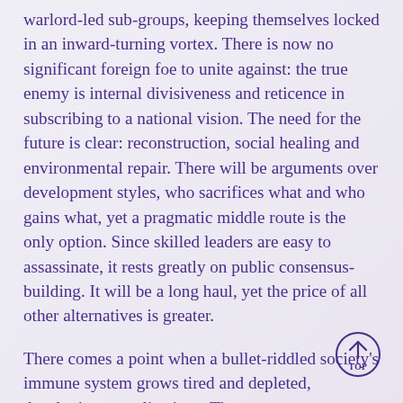warlord-led sub-groups, keeping themselves locked in an inward-turning vortex. There is now no significant foreign foe to unite against: the true enemy is internal divisiveness and reticence in subscribing to a national vision. The need for the future is clear: reconstruction, social healing and environmental repair. There will be arguments over development styles, who sacrifices what and who gains what, yet a pragmatic middle route is the only option. Since skilled leaders are easy to assassinate, it rests greatly on public consensus-building. It will be a long haul, yet the price of all other alternatives is greater.
There comes a point when a bullet-riddled society's immune system grows tired and depleted, developing complications. The
[Figure (other): TOP navigation button — a circle containing an upward-pointing arrow above the word TOP]